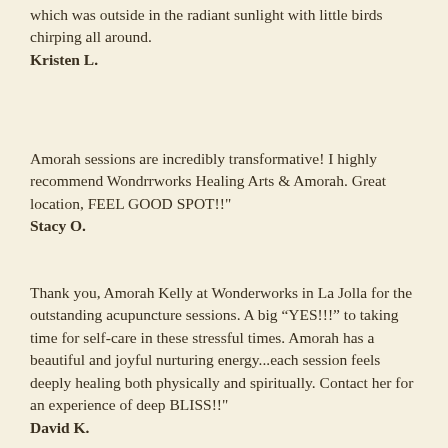which was outside in the radiant sunlight with little birds chirping all around.
Kristen L.
Amorah sessions are incredibly transformative! I highly recommend Wondrrworks Healing Arts & Amorah. Great location, FEEL GOOD SPOT!!"
Stacy O.
Thank you, Amorah Kelly at Wonderworks in La Jolla for the outstanding acupuncture sessions. A big “YES!!!” to taking time for self-care in these stressful times. Amorah has a beautiful and joyful nurturing energy...each session feels deeply healing both physically and spiritually. Contact her for an experience of deep BLISS!!"
David K.